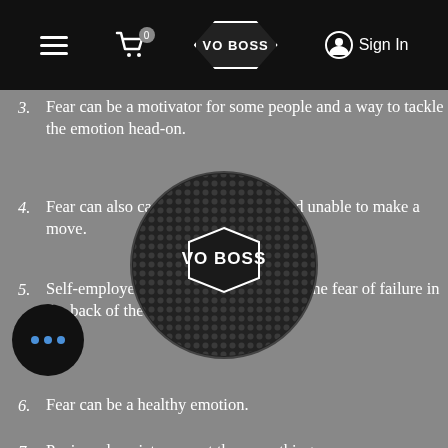VO BOSS navigation bar
3. Fear can be a motivator for some people and a way to tackle the emotion head-on.
4. Fear can also cause us to be frozen and unable to make a move.
5. Self-employed people always live with the fear of failure in the back of the minds.
6. Fear can be a healthy emotion.
7. Panic and anxiety are not the same things.
8. Get to the bottom of your actual fear. What's on the surface is probably irrational.
9. Emotions & logic probably need to be separated to help you see the issue clearly.
10. Talk about fear with other business owners. Take the power away from the fear.
[Figure (logo): VO BOSS circular microphone logo overlay in center of page]